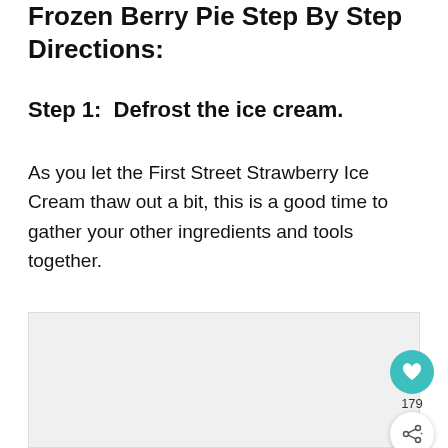Frozen Berry Pie Step By Step Directions:
Step 1:  Defrost the ice cream.
As you let the First Street Strawberry Ice Cream thaw out a bit, this is a good time to gather your other ingredients and tools together.
[Figure (photo): Placeholder image area for a photo related to the recipe step]